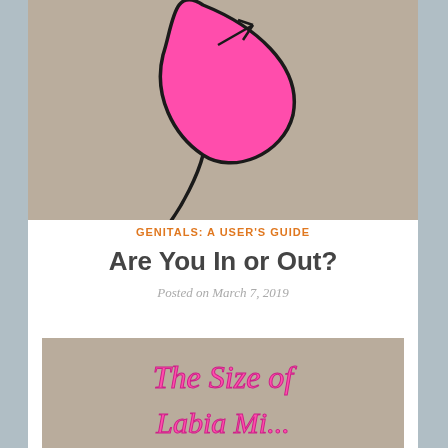[Figure (photo): Photo of a pink hand-drawn illustration of a shape on a tan/grey cardboard background]
GENITALS: A USER'S GUIDE
Are You In or Out?
Posted on March 7, 2019
[Figure (photo): Photo of hand-written text in pink marker on cardboard reading 'The Size of Labia Minora']